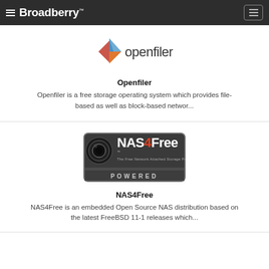Broadberry
[Figure (logo): Openfiler logo — stylized angular bird/arrow shape in blue, orange, red with 'openfiler' text]
Openfiler
Openfiler is a free storage operating system which provides file-based as well as block-based networ...
[Figure (logo): NAS4Free POWERED badge — dark grey badge with camera lens icon, NAS4Free logo, 'The Free Network Attached Storage Project' subtitle, and 'POWERED' text at the bottom]
NAS4Free
NAS4Free is an embedded Open Source NAS distribution based on the latest FreeBSD 11-1 releases which...